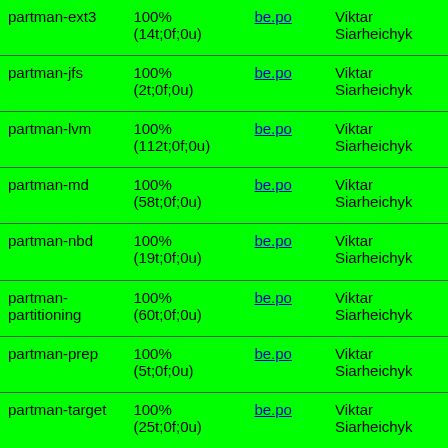| partman-ext3 | 100%
(14t;0f;0u) | be.po | Viktar Siarheichyk |
| partman-jfs | 100%
(2t;0f;0u) | be.po | Viktar Siarheichyk |
| partman-lvm | 100%
(112t;0f;0u) | be.po | Viktar Siarheichyk |
| partman-md | 100%
(58t;0f;0u) | be.po | Viktar Siarheichyk |
| partman-nbd | 100%
(19t;0f;0u) | be.po | Viktar Siarheichyk |
| partman-partitioning | 100%
(60t;0f;0u) | be.po | Viktar Siarheichyk |
| partman-prep | 100%
(5t;0f;0u) | be.po | Viktar Siarheichyk |
| partman-target | 100%
(25t;0f;0u) | be.po | Viktar Siarheichyk |